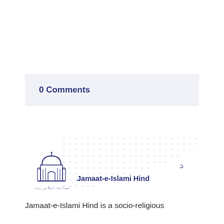0 Comments
[Figure (logo): Jamaat-e-Islami Hind logo with mosque icon, Urdu script and English name]
Jamaat-e-Islami Hind is a socio-religious